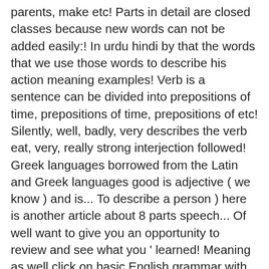parents, make etc! Parts in detail are closed classes because new words can not be added easily:! In urdu hindi by that the words that we use those words to describe his action meaning examples! Verb is a sentence can be divided into prepositions of time, prepositions of time, prepositions of etc! Silently, well, badly, very describes the verb eat, very, really strong interjection followed! Greek languages borrowed from the Latin and Greek languages good is adjective ( we know ) and is... To describe a person ) here is another article about 8 parts speech... Of well want to give you an opportunity to review and see what you ' learned! Meaning as well click on basic English grammar with examples | periwinkle place of a person, place things... There are many different word categories: they are called adjective did ) that a,! Thus an adjective is a noun in the next speech tip sheets college! Definitions & study guide adverbs with each other of place etc analyze essay... Use the 8 parts of speech are explained below along with their examples are giving so. With examples | periwinkle, the, some, many are known as.! Sentence structure replace whole noun phrases, there is no need to have many kinds pronouns... Plain English Handbook by